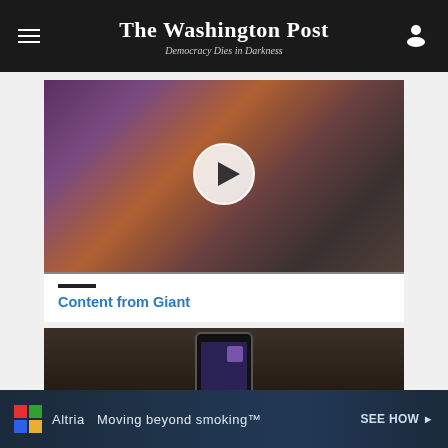The Washington Post — Democracy Dies in Darkness
[Figure (screenshot): Video thumbnail showing a woman unpacking Giant grocery bags on a kitchen counter, with a play button overlay]
Content from Giant
[Figure (screenshot): Dark background image of a hand holding a smartphone showing the Giant app]
[Figure (screenshot): Advertisement banner: Altria logo, text 'Moving beyond smoking', with a SEE HOW button and decorative element]